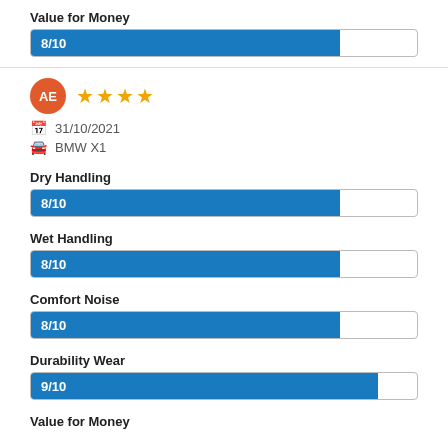Value for Money
[Figure (bar-chart): Value for Money]
[Figure (infographic): Reviewer avatar circle with initials AE and 4 orange stars rating]
31/10/2021
BMW X1
Dry Handling
[Figure (bar-chart): Dry Handling]
Wet Handling
[Figure (bar-chart): Wet Handling]
Comfort Noise
[Figure (bar-chart): Comfort Noise]
Durability Wear
[Figure (bar-chart): Durability Wear]
Value for Money